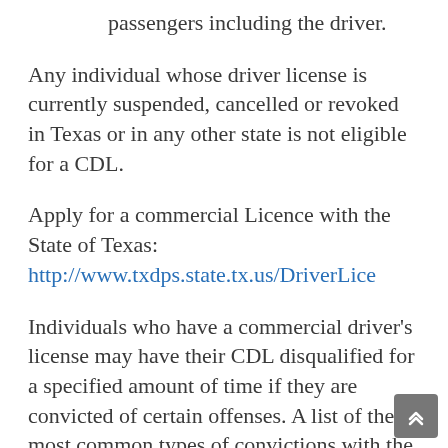passengers including the driver.
Any individual whose driver license is currently suspended, cancelled or revoked in Texas or in any other state is not eligible for a CDL.
Apply for a commercial Licence with the State of Texas: http://www.txdps.state.tx.us/DriverLice
Individuals who have a commercial driver's license may have their CDL disqualified for a specified amount of time if they are convicted of certain offenses. A list of the most common types of convictions with the disqualification period is provided in the link